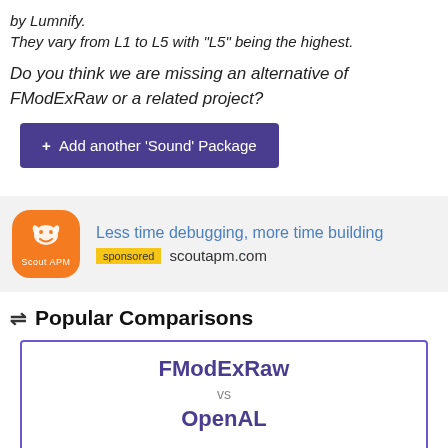by Lumnify.
They vary from L1 to L5 with "L5" being the highest.
Do you think we are missing an alternative of FModExRaw or a related project?
+ Add another 'Sound' Package
[Figure (other): Scout APM advertisement banner with orange logo, tagline 'Less time debugging, more time building', sponsored badge, and scoutapm.com URL]
⇌ Popular Comparisons
| FModExRaw | vs | OpenAL |